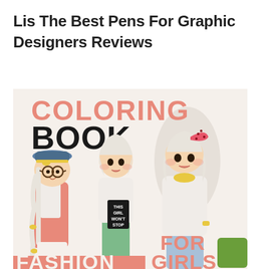Lis The Best Pens For Graphic Designers Reviews
[Figure (illustration): Cover of a 'Coloring Book For Girls Fashion' featuring three cartoon-style fashion girls. One girl on the left wears a blue hat with yellow band, glasses, and a pink cardigan with a long braid. The center girl wears a white top reading 'THIS GIRL WON'T STOP' and green pants. The right girl wears a white top with a yellow collar detail and a pink polka-dot bow. Text on cover reads: COLORING BOOK FOR GIRLS FASHION. A green square is visible in the bottom right corner.]